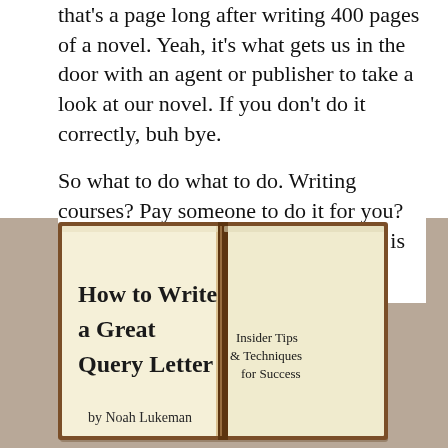that's a page long after writing 400 pages of a novel. Yeah, it's what gets us in the door with an agent or publisher to take a look at our novel. If you don't do it correctly, buh bye.
So what to do what to do. Writing courses? Pay someone to do it for you? Sure, those are options but then there is this.
[Figure (photo): Book cover image: 'How to Write a Great Query Letter — Insider Tips & Techniques for Success' by Noah Lukeman, displayed as an open book with cream/ivory pages and dark brown spine.]